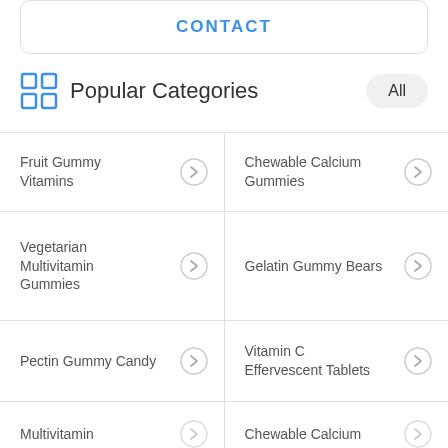CONTACT
Popular Categories
Fruit Gummy Vitamins
Chewable Calcium Gummies
Vegetarian Multivitamin Gummies
Gelatin Gummy Bears
Pectin Gummy Candy
Vitamin C Effervescent Tablets
Multivitamin
Chewable Calcium